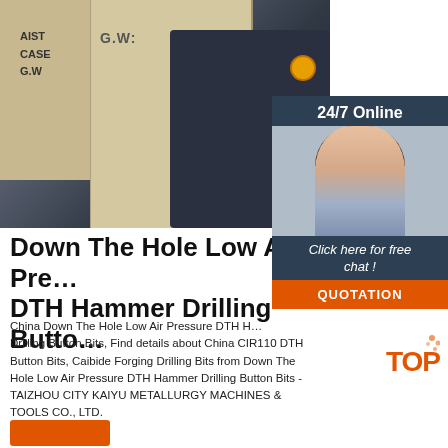[Figure (photo): Industrial drilling equipment / DTH hammer machine in a factory setting with wooden crates labeled G.W. in the background]
[Figure (photo): 24/7 Online customer service representative with headset smiling, with 'Click here for free chat!' text and QUOTATION button]
Down The Hole Low Air Pressure DTH Hammer Drilling Button Bits
China Down The Hole Low Air Pressure DTH Hammer Drilling Button Bits, Find details about China CIR110 DTH Button Bits, Caibide Forging Drilling Bits from Down The Hole Low Air Pressure DTH Hammer Drilling Button Bits - TAIZHOU CITY KAIYU METALLURGY MACHINES & TOOLS CO., LTD.